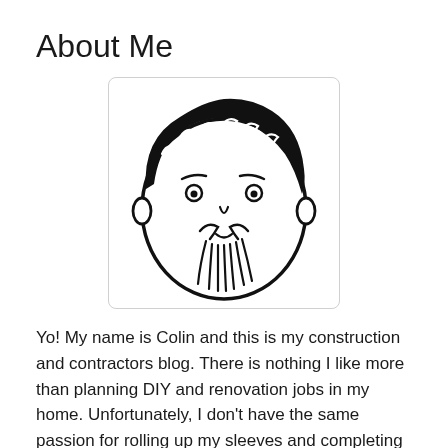About Me
[Figure (illustration): Hand-drawn cartoon illustration of a man's face with dark hair and a goatee/mustache beard, inside a rounded rectangle border]
Yo! My name is Colin and this is my construction and contractors blog. There is nothing I like more than planning DIY and renovation jobs in my home. Unfortunately, I don't have the same passion for rolling up my sleeves and completing the jobs I plan. This means that I often have 5 or 6 unfinished jobs on the go at once. My wife gets really annoyed with me. Last month, I got so mad at myself, I called in a profession contractor to do all the things I had